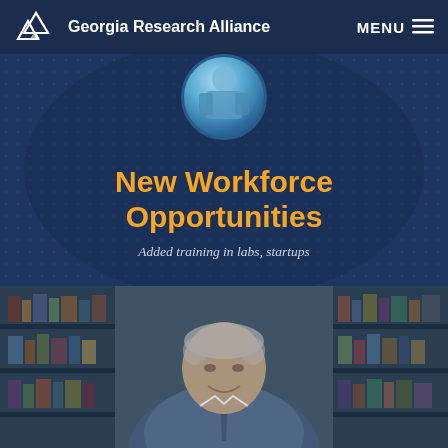Georgia Research Alliance | MENU
New Workforce Opportunities
Added training in labs, startups
[Figure (photo): Photo of an older man with grey hair, smiling, standing in front of bookshelves in a lab or office setting with blue-tinted lighting]